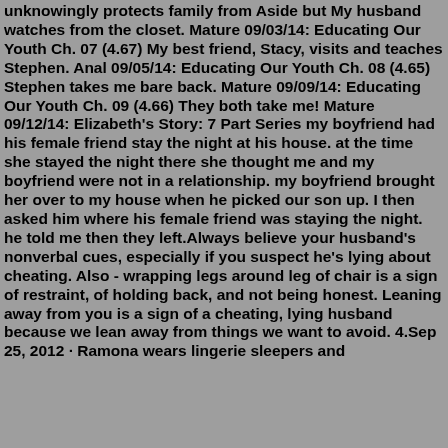unknowingly protects family from Aside but My husband watches from the closet. Mature 09/03/14: Educating Our Youth Ch. 07 (4.67) My best friend, Stacy, visits and teaches Stephen. Anal 09/05/14: Educating Our Youth Ch. 08 (4.65) Stephen takes me bare back. Mature 09/09/14: Educating Our Youth Ch. 09 (4.66) They both take me! Mature 09/12/14: Elizabeth's Story: 7 Part Series my boyfriend had his female friend stay the night at his house. at the time she stayed the night there she thought me and my boyfriend were not in a relationship. my boyfriend brought her over to my house when he picked our son up. I then asked him where his female friend was staying the night. he told me then they left.Always believe your husband's nonverbal cues, especially if you suspect he's lying about cheating. Also - wrapping legs around leg of chair is a sign of restraint, of holding back, and not being honest. Leaning away from you is a sign of a cheating, lying husband because we lean away from things we want to avoid. 4.Sep 25, 2012 · Ramona wears lingerie sleepers and